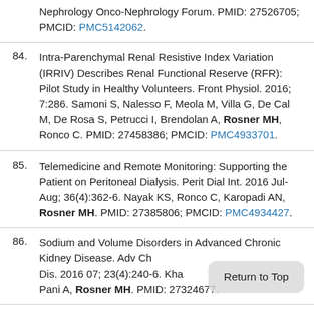Nephrology Onco-Nephrology Forum. PMID: 27526705; PMCID: PMC5142062.
84. Intra-Parenchymal Renal Resistive Index Variation (IRRIV) Describes Renal Functional Reserve (RFR): Pilot Study in Healthy Volunteers. Front Physiol. 2016; 7:286. Samoni S, Nalesso F, Meola M, Villa G, De Cal M, De Rosa S, Petrucci I, Brendolan A, Rosner MH, Ronco C. PMID: 27458386; PMCID: PMC4933701.
85. Telemedicine and Remote Monitoring: Supporting the Patient on Peritoneal Dialysis. Perit Dial Int. 2016 Jul-Aug; 36(4):362-6. Nayak KS, Ronco C, Karopadi AN, Rosner MH. PMID: 27385806; PMCID: PMC4934427.
86. Sodium and Volume Disorders in Advanced Chronic Kidney Disease. Adv Ch Dis. 2016 07; 23(4):240-6. Kha... Pani A, Rosner MH. PMID: 27324677.